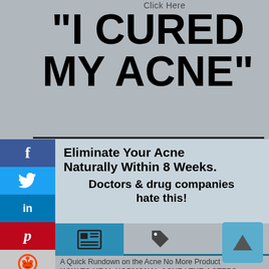Click Here
"I CURED MY ACNE"
Eliminate Your Acne Naturally Within 8 Weeks. Doctors & drug companies hate this!
[Figure (screenshot): Social media share sidebar with Facebook, Twitter, LinkedIn, Pinterest, Reddit, Meneame, YouTube buttons]
[Figure (infographic): Icon bar with newspaper/article icon, tag icon, and comment/chat icon]
A Quick Rundown on the Acne No More Product
HOW TO HEAL HORMONAL ACNE | THE 4 STEPS
Acne Treatment